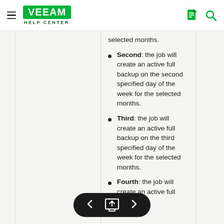Veeam Help Center
selected months.
Second: the job will create an active full backup on the second specified day of the week for the selected months.
Third: the job will create an active full backup on the third specified day of the week for the selected months.
Fourth: the job will create an active full backup